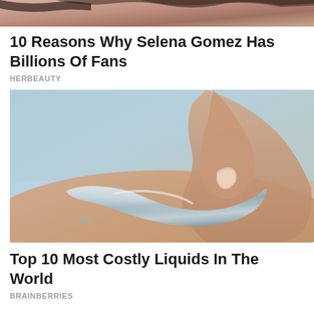[Figure (photo): Partial photo of a person, cropped at top showing hair/head area with warm skin tones, top portion of a content card]
10 Reasons Why Selena Gomez Has Billions Of Fans
HERBEAUTY
[Figure (photo): Close-up photo of a hand pressing on a shiny metallic liquid mercury-like blob against a light blue background]
Top 10 Most Costly Liquids In The World
BRAINBERRIES